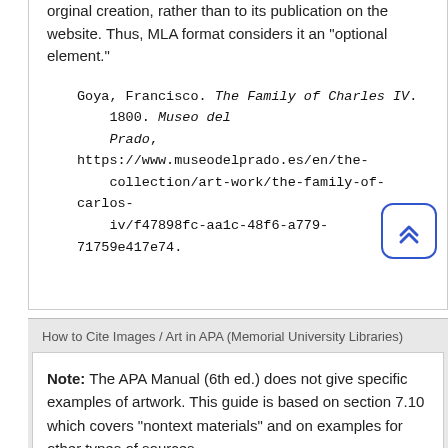orginal creation, rather than to its publication on the website. Thus, MLA format considers it an "optional element."
Goya, Francisco. The Family of Charles IV. 1800. Museo del Prado, https://www.museodelprado.es/en/the-collection/art-work/the-family-of-carlos-iv/f47898fc-aa1c-48f6-a779-71759e417e74.
How to Cite Images / Art in APA (Memorial University Libraries)
Note: The APA Manual (6th ed.) does not give specific examples of artwork. This guide is based on section 7.10 which covers "nontext materials" and on examples for other types of sources.